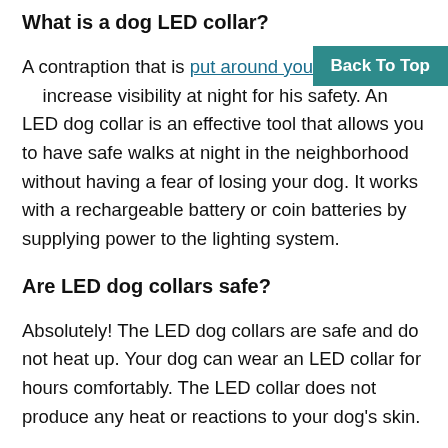What is a dog LED collar?
A contraption that is put around your dog's neck to increase visibility at night for his safety. An LED dog collar is an effective tool that allows you to have safe walks at night in the neighborhood without having a fear of losing your dog. It works with a rechargeable battery or coin batteries by supplying power to the lighting system.
Are LED dog collars safe?
Absolutely! The LED dog collars are safe and do not heat up. Your dog can wear an LED collar for hours comfortably. The LED collar does not produce any heat or reactions to your dog's skin.
Can I use an LED collar as my dog's everyday collar?
Yes! An LED dog collar can absolutely be used for daily